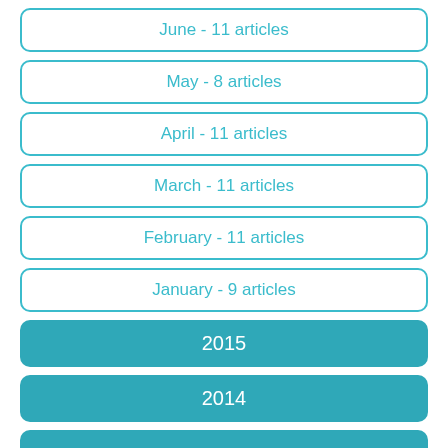June - 11 articles
May - 8 articles
April - 11 articles
March - 11 articles
February - 11 articles
January - 9 articles
2015
2014
2013